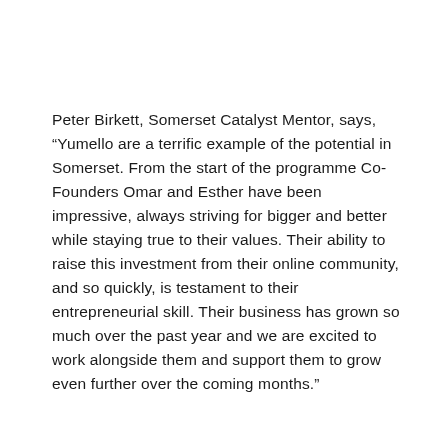Peter Birkett, Somerset Catalyst Mentor, says, “Yumello are a terrific example of the potential in Somerset. From the start of the programme Co-Founders Omar and Esther have been impressive, always striving for bigger and better while staying true to their values. Their ability to raise this investment from their online community, and so quickly, is testament to their entrepreneurial skill. Their business has grown so much over the past year and we are excited to work alongside them and support them to grow even further over the coming months.”